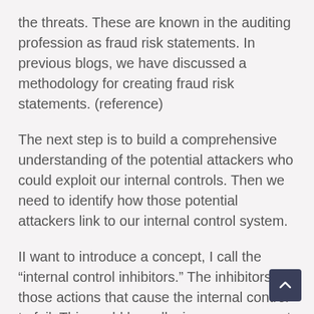the threats. These are known in the auditing profession as fraud risk statements. In previous blogs, we have discussed a methodology for creating fraud risk statements. (reference)
The next step is to build a comprehensive understanding of the potential attackers who could exploit our internal controls. Then we need to identify how those potential attackers link to our internal control system.
II want to introduce a concept, I call the “internal control inhibitors.” The inhibitors are those actions that cause the internal control to fail. This could be collusion, management override, nonperformance of a control procedure, lack of understanding of a control procedure, the sophisticatio concealment, etc. These inhibitors should be viewed as